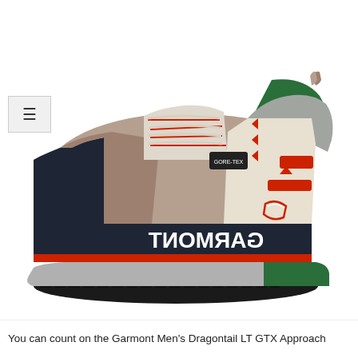[Figure (photo): Side profile photo of a Garmont Men's Dragontail LT GTX Approach shoe. The shoe is shown from the right side (mirrored so GARMONT text reads backwards), featuring a tan/beige suede upper, red accents, green heel collar, white lacing, dark navy/black midsole with red strip along the bottom edge, and black lugged outsole. The text 'GARMONT' appears on the midsole in white letters (mirrored), and 'DRAGONTAIL' appears lower on the heel area. A Gore-Tex logo badge is visible on the side.]
You can count on the Garmont Men's Dragontail LT GTX Approach